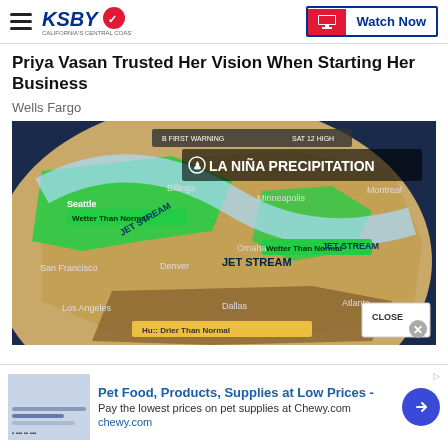KSBY - California's Central Coast | Watch Now
Priya Vasan Trusted Her Vision When Starting Her Business
Wells Fargo
[Figure (screenshot): Weather map showing La Niña Precipitation with jet stream arc across North America. Green areas labeled 'Wetter Than Normal' in the Pacific Northwest and Great Lakes region. Brown/tan areas in the South labeled 'Drier Than Normal'. Cities labeled include Seattle, Billings, Minneapolis, Montreal, San Francisco, Denver, Omaha, Los Angeles, Dallas, Atlanta. Jet stream band labeled 'JET STREAM' arcing across the map.]
[Figure (screenshot): Advertisement banner at bottom: Pet Food, Products, Supplies at Low Prices - Chewy.com. Pay the lowest prices on pet supplies at Chewy.com. chewy.com]